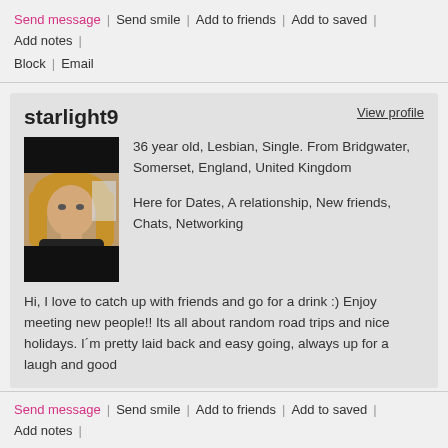Send message | Send smile | Add to friends | Add to saved | Add notes | Block | Email
starlight9
View profile
[Figure (photo): Profile photo of starlight9 — woman with blonde hair, partially obscured by black bars top and bottom]
36 year old, Lesbian, Single. From Bridgwater, Somerset, England, United Kingdom
Here for Dates, A relationship, New friends, Chats, Networking
Hi, I love to catch up with friends and go for a drink :) Enjoy meeting new people!! Its all about random road trips and nice holidays. I´m pretty laid back and easy going, always up for a laugh and good
Send message | Send smile | Add to friends | Add to saved | Add notes